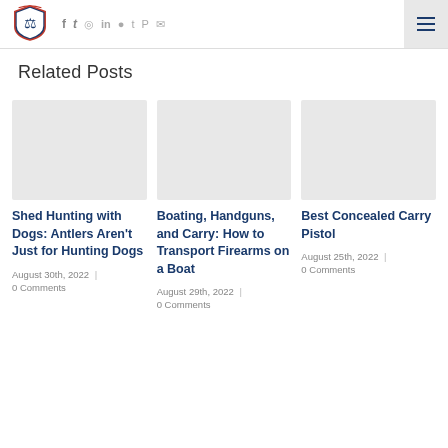US Lawshield logo and social icons navigation
Related Posts
Shed Hunting with Dogs: Antlers Aren't Just for Hunting Dogs
August 30th, 2022 | 0 Comments
Boating, Handguns, and Carry: How to Transport Firearms on a Boat
August 29th, 2022 | 0 Comments
Best Concealed Carry Pistol
August 25th, 2022 | 0 Comments